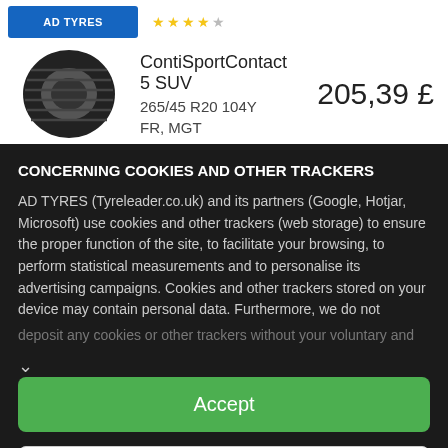[Figure (logo): Blue rectangular logo (AD Tyres / Tyreleader.co.uk)]
[Figure (other): Star rating icons (yellow stars)]
[Figure (photo): Photo of a black Continental tyre tread]
ContiSportContact 5 SUV
265/45 R20 104Y
FR, MGT
205,39 £
CONCERNING COOKIES AND OTHER TRACKERS
AD TYRES (Tyreleader.co.uk) and its partners (Google, Hotjar, Microsoft) use cookies and other trackers (web storage) to ensure the proper function of the site, to facilitate your browsing, to perform statistical measurements and to personalise its advertising campaigns. Cookies and other trackers stored on your device may contain personal data. Furthermore, we do not deposit any cookies or other trackers without your voluntary and
Accept
Customise